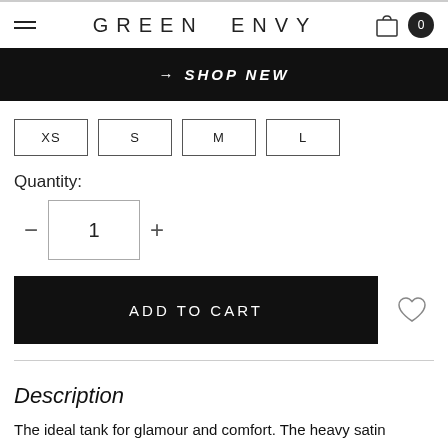GREEN ENVY
→ SHOP NEW
XS
S
M
L
Quantity:
1
ADD TO CART
Description
The ideal tank for glamour and comfort. The heavy satin